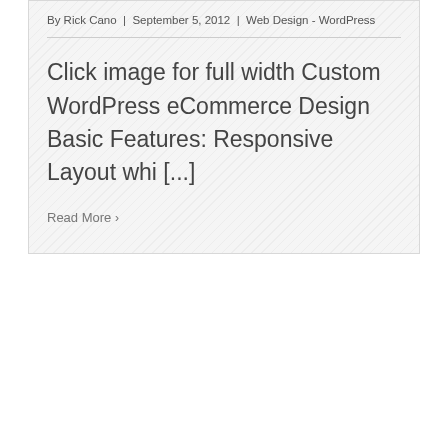By Rick Cano | September 5, 2012 | Web Design - WordPress
Click image for full width Custom WordPress eCommerce Design Basic Features: Responsive Layout whi [...]
Read More ›